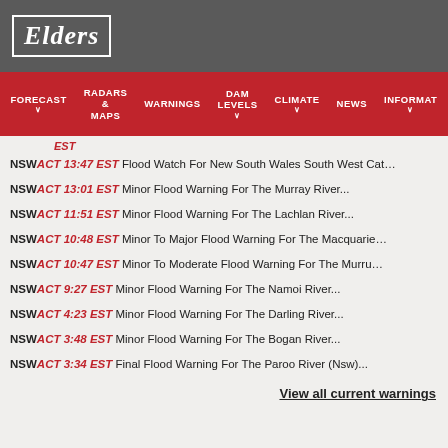Elders
FORECAST | RADARS & MAPS | WARNINGS | DAM LEVELS | CLIMATE | NEWS | INFORMATION
EST
NSW ACT 13:47 EST Flood Watch For New South Wales South West Cat...
NSW ACT 13:01 EST Minor Flood Warning For The Murray River...
NSW ACT 11:51 EST Minor Flood Warning For The Lachlan River...
NSW ACT 10:48 EST Minor To Major Flood Warning For The Macquarie...
NSW ACT 10:47 EST Minor To Moderate Flood Warning For The Murru...
NSW ACT 9:27 EST Minor Flood Warning For The Namoi River...
NSW ACT 4:23 EST Minor Flood Warning For The Darling River...
NSW ACT 3:48 EST Minor Flood Warning For The Bogan River...
NSW ACT 3:34 EST Final Flood Warning For The Paroo River (Nsw)...
View all current warnings